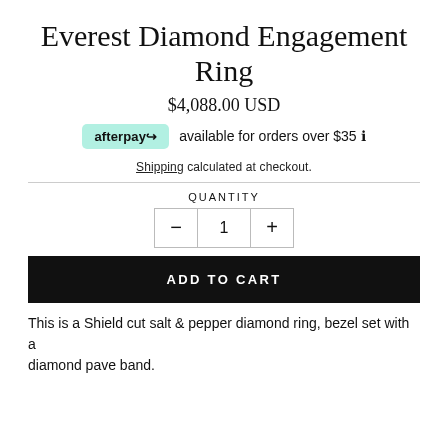Everest Diamond Engagement Ring
$4,088.00 USD
afterpay  available for orders over $35 ℹ
Shipping calculated at checkout.
QUANTITY
− 1 +
ADD TO CART
This is a Shield cut salt & pepper diamond ring, bezel set with a diamond pave band.